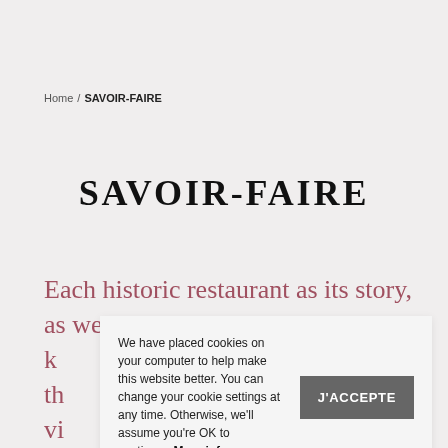Home / SAVOIR-FAIRE
SAVOIR-FAIRE
Each historic restaurant as its story, as we k... th... vi... maintained a sincerity, a tradition, a reputation that extends around the world.
We have placed cookies on your computer to help make this website better. You can change your cookie settings at any time. Otherwise, we'll assume you're OK to continue. More info
J'ACCEPTE